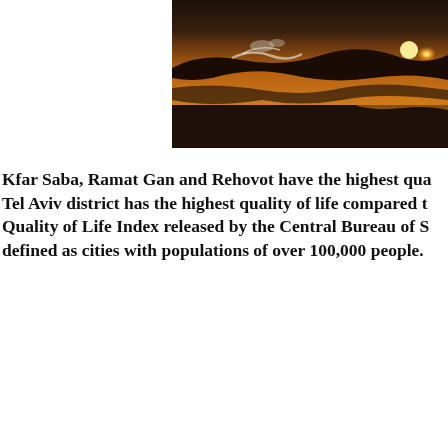[Figure (photo): Sunset beach photograph showing ocean waves crashing on shore with a golden sun reflecting on the water, dark silhouetted wave in the foreground]
Kfar Saba, Ramat Gan and Rehovot have the highest qua... Tel Aviv district has the highest quality of life compared t... Quality of Life Index released by the Central Bureau of S... defined as cities with populations of over 100,000 people.